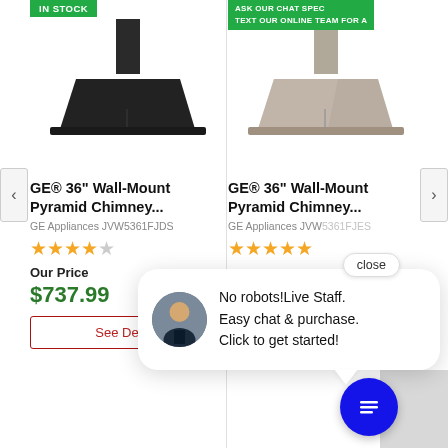[Figure (screenshot): Product listing page showing two GE 36-inch Wall-Mount Pyramid Chimney range hoods side by side with prices and ratings, overlaid with a live chat popup bubble]
IN STOCK
ASK OUR CHAT SPEC TEXT OUR ONLINE TEAM FOR A
GE® 36" Wall-Mount Pyramid Chimney...
GE® 36" Wall-Mount Pyramid Chimney...
GE Appliances JVW5361FJDS
GE Appliances JVW5361FJES
Our Price
$737.99
See Det
No robots!Live Staff. Easy chat & purchase. Click to get started!
close